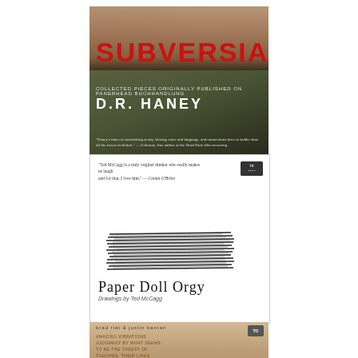[Figure (photo): Book cover: SUBVERSIA by D.R. Haney. Dark green/olive background with a close-up photo of a person's face. Title 'SUBVERSIA' in large red bold uppercase letters, subtitle text in small white uppercase, author name 'D.R. HANEY' in large white bold letters, quote at bottom in small white text.]
[Figure (illustration): Book cover: Paper Doll Orgy, Drawings by Ted McCagg. White background. Small quote at top left attributed to Conan O'Brien. Publisher logo top right. Abstract black scribbled/hatched rectangular block in center. Title 'Paper Doll Orgy' in handwritten-style serif font, subtitle 'Drawings by Ted McCagg' in small italic text below.]
[Figure (photo): Partial book cover: brad riat & justin bentan on wood-grain / tan background. Small publisher logo top right. Multi-line text in small uppercase brown/terracotta letters partially visible.]